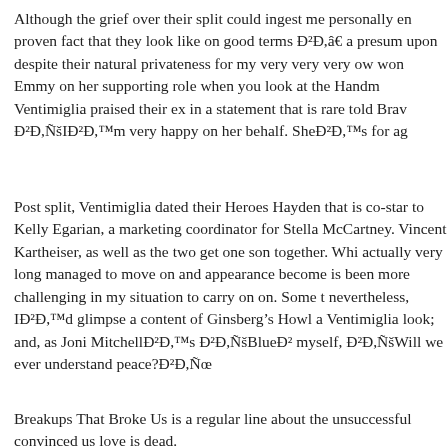Although the grief over their split could ingest me personally en proven fact that they look like on good terms Ð²Ð,â€ a presum upon despite their natural privateness for my very very very ow won Emmy on her supporting role when you look at the Handm Ventimiglia praised their ex in a statement that is rare told Brav Ð²Ð,ÑšIÐ²Ð,™m very happy on her behalf. SheÐ²Ð,™s for ag
Post split, Ventimiglia dated their Heroes Hayden that is co-star to Kelly Egarian, a marketing coordinator for Stella McCartney. Vincent Kartheiser, as well as the two get one son together. Whi actually very long managed to move on and appearance become is been more challenging in my situation to carry on on. Some t nevertheless, IÐ²Ð,™d glimpse a content of Ginsberg's Howl a Ventimiglia look; and, as Joni MitchellÐ²Ð,™s Ð²Ð,ÑšBlueÐ² myself, Ð²Ð,ÑšWill we ever understand peace?Ð²Ð,Ñœ
Breakups That Broke Us is a regular line about the unsuccessful convinced us love is dead.